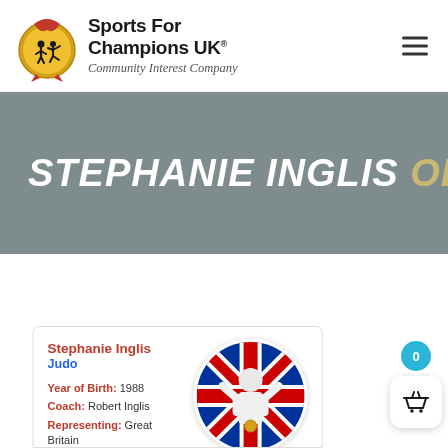Sports For Champions UK® Community Interest Company
STEPHANIE INGLIS OLY
[Figure (photo): Profile card showing Stephanie Inglis in a white jacket holding a medal, posed in front of a Union Jack flag background, with a circular crop.]
Stephanie Inglis
Judo
Year of Birth: 1988
Coach: Robert Inglis
Representing: Great Britain